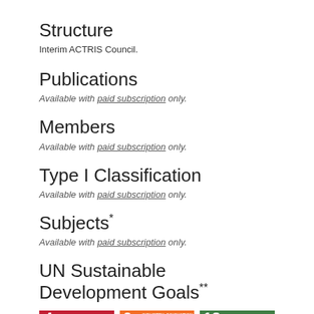Structure
Interim ACTRIS Council.
Publications
Available with paid subscription only.
Members
Available with paid subscription only.
Type I Classification
Available with paid subscription only.
Subjects *
Available with paid subscription only.
UN Sustainable Development Goals **
[Figure (infographic): Three UN SDG icons: 4 Quality Education (red), 9 Industry Innovation and Infrastructure (orange), 13 Climate Action (green)]